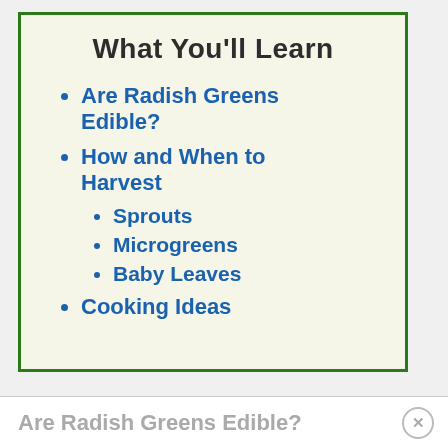What You'll Learn
Are Radish Greens Edible?
How and When to Harvest
Sprouts
Microgreens
Baby Leaves
Cooking Ideas
Are Radish Greens Edible?